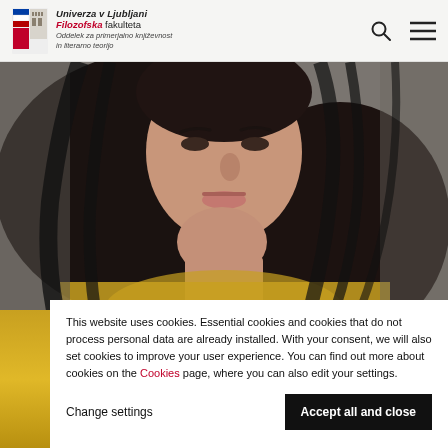Univerza v Ljubljani Filozofska fakulteta Oddelek za primerjalno književnost in literarno teorijo
[Figure (photo): Portrait photo of a woman with long dark hair, cropped to show face and upper body, wearing a yellow/gold top, against a grey background.]
This website uses cookies. Essential cookies and cookies that do not process personal data are already installed. With your consent, we will also set cookies to improve your user experience. You can find out more about cookies on the Cookies page, where you can also edit your settings.
Change settings
Accept all and close